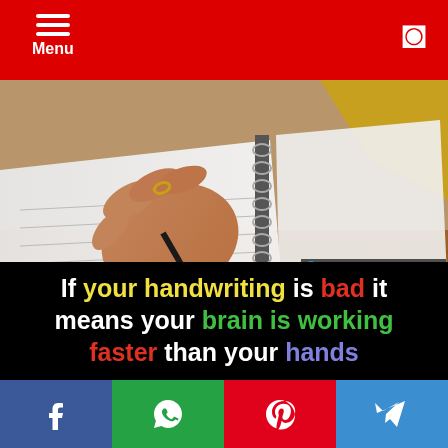Menu
[Figure (photo): Close-up of a hand holding a pen, writing on a spiral-bound notebook on a wooden table. Background shows a yellow cloth. Black text overlay at bottom reads: If your handwriting is bad it means your brain is working faster than your hands. Watermark: https://amazingfact.co /inrscience]
Social share buttons: Facebook, WhatsApp, Pinterest, Telegram